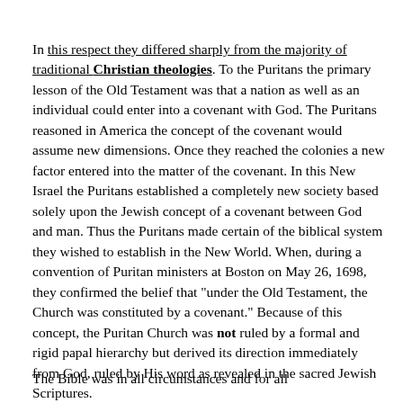In this respect they differed sharply from the majority of traditional Christian theologies. To the Puritans the primary lesson of the Old Testament was that a nation as well as an individual could enter into a covenant with God. The Puritans reasoned in America the concept of the covenant would assume new dimensions. Once they reached the colonies a new factor entered into the matter of the covenant. In this New Israel the Puritans established a completely new society based solely upon the Jewish concept of a covenant between God and man. Thus the Puritans made certain of the biblical system they wished to establish in the New World. When, during a convention of Puritan ministers at Boston on May 26, 1698, they confirmed the belief that "under the Old Testament, the Church was constituted by a covenant." Because of this concept, the Puritan Church was not ruled by a formal and rigid papal hierarchy but derived its direction immediately from God, ruled by His word as revealed in the sacred Jewish Scriptures.
The Bible was in all circumstances and for all